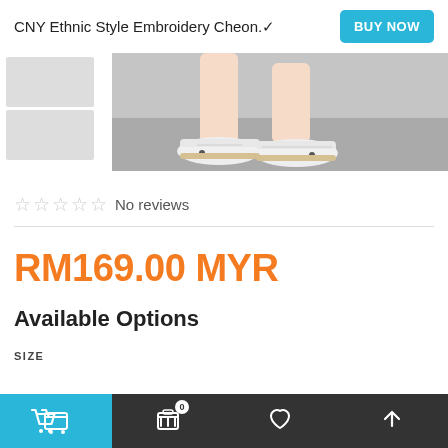CNY Ethnic Style Embroidery Cheon.✓
[Figure (photo): Product page showing lower legs and white sneaker shoes on a grey background, with thumbnail images on the left]
☆☆☆☆☆ No reviews
RM169.00 MYR
Available Options
SIZE